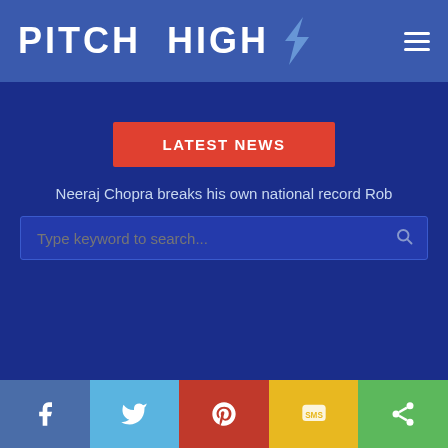PITCH HIGH
LATEST NEWS
Neeraj Chopra breaks his own national record Rob
Type keyword to search...
[Figure (photo): Four athletes posing against a dark background: a young man in red shirt, a person in blue E cap and white shirt, a woman in dark visor, and a partially visible person on the right.]
Social share bar: Facebook, Twitter, Pinterest, SMS, Share